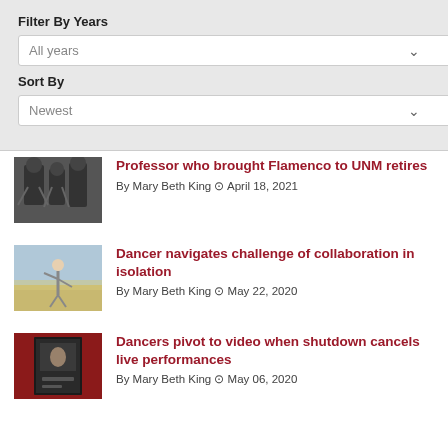Filter By Years
All years
Sort By
Newest
[Figure (photo): Black and white photo of Flamenco dancers]
Professor who brought Flamenco to UNM retires
By Mary Beth King ⊙ April 18, 2021
[Figure (photo): Photo of a dancer in an open landscape]
Dancer navigates challenge of collaboration in isolation
By Mary Beth King ⊙ May 22, 2020
[Figure (photo): Photo with red background showing dancers on a poster]
Dancers pivot to video when shutdown cancels live performances
By Mary Beth King ⊙ May 06, 2020